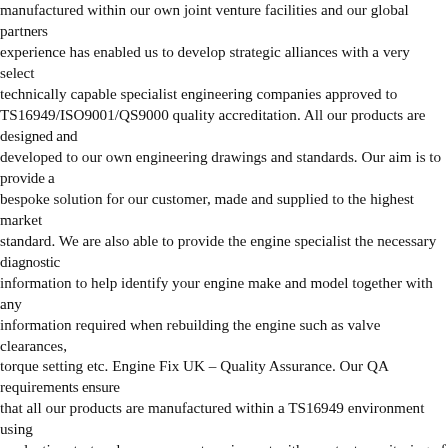manufactured within our own joint venture facilities and our global partners experience has enabled us to develop strategic alliances with a very select technically capable specialist engineering companies approved to TS16949/ISO9001/QS9000 quality accreditation. All our products are designed and developed to our own engineering drawings and standards. Our aim is to provide a bespoke solution for our customer, made and supplied to the highest market standard. We are also able to provide the engine specialist the necessary diagnostic information to help identify your engine make and model together with any information required when rebuilding the engine such as valve clearances, torque setting etc. Engine Fix UK – Quality Assurance. Our QA requirements ensure that all our products are manufactured within a TS16949 environment using production, test and measurement equipment with constant monitoring of dimensional features. All products are fully tested and approved with engine installation and are part of a full APQP an PPAP approval process. Our product reliability is assured by 100% functional testing of all our pumps and dimensional and material quality assurance on all component parts. Engine Fix UK – T Our range is comprehensive covering Light and Heavy Commercial Trucks, Off Highway, Agricultural, Industrial, Marine and Power Generation supported engines in the range of 2 litres to 65 litres. Our range specialises in the support of engines of older vintage back to the 1940s as well as offering new engine parts for the modern day fuel efficient emissions friendly engines. Engine Fix UK – Guarantee. Our product quality is assured at each stage of manufacturing, assembly and final test. Our process capabilities ensure consistency of production. C Depot: Power Source Engine Parts Ltd Freshfield Cassia Green Marton CW7 2PZ West Midlands Depot: Power Source Engine Parts Ltd Unit 3